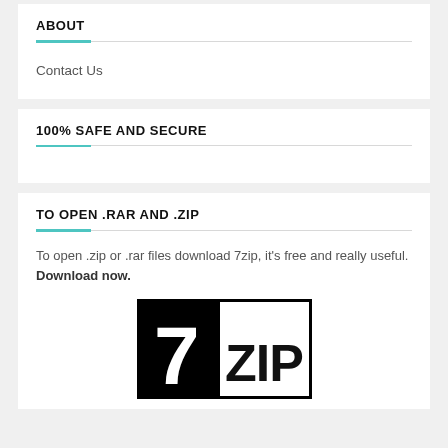ABOUT
Contact Us
100% SAFE AND SECURE
TO OPEN .RAR AND .ZIP
To open .zip or .rar files download 7zip, it's free and really useful. Download now.
[Figure (logo): 7-Zip software logo: black background with large white '7' and 'ZIP' text in bold, bordered box]